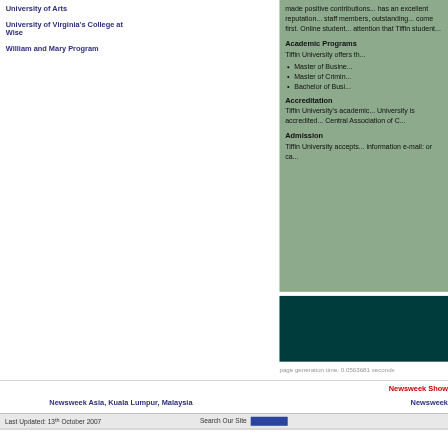University of Arts
University of Virginia's College at Wise
William and Mary Program
made positive contributions... has an excellent reputation... staff members, outstanding... come first. Online students... attention that Tiffin students...
Academic Programs
Tiffin University offers the...
Master of Business...
Master of Criminal...
Bachelor of Business...
Accreditation
Tiffin University's academic... University is accredited... Central Association of C...
Admission
Tiffin University accepts... information e-mail: or ca...
page generation time: 0.0563681 seconds
Newsweek Show
Newsweek Asia, Kuala Lumpur, Malaysia
Newsweek
Last Updated: 13th October 2007    Search Our Site